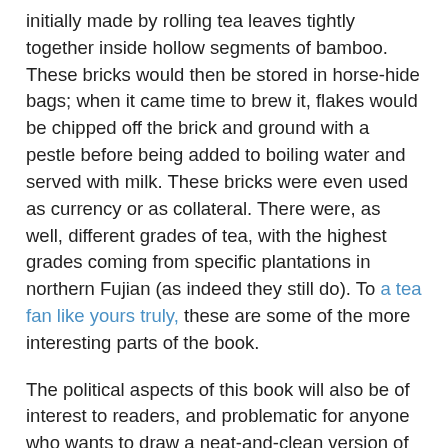initially made by rolling tea leaves tightly together inside hollow segments of bamboo. These bricks would then be stored in horse-hide bags; when it came time to brew it, flakes would be chipped off the brick and ground with a pestle before being added to boiling water and served with milk. These bricks were even used as currency or as collateral. There were, as well, different grades of tea, with the highest grades coming from specific plantations in northern Fujian (as indeed they still do). To a tea fan like yours truly, these are some of the more interesting parts of the book.
The political aspects of this book will also be of interest to readers, and problematic for anyone who wants to draw a neat-and-clean version of North Asian history with clear victims and villains. The œconomic and political nature of the Tibetan lamaseries and their specific rôle in granting theocratic legitimacy to the Mongolian khans in their rulership over the northern Silk Road route is noted. As is the competition between the Dalai Lamas and the Bogd Khans in favour of their respective political favourites. This rather deflates the 'Shangri-La' mythology of a pure and